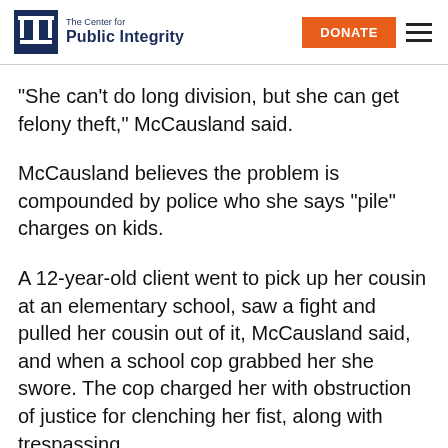The Center for Public Integrity | DONATE
“She can’t do long division, but she can get felony theft,” McCausland said.
McCausland believes the problem is compounded by police who she says “pile” charges on kids.
A 12-year-old client went to pick up her cousin at an elementary school, saw a fight and pulled her cousin out of it, McCausland said, and when a school cop grabbed her she swore. The cop charged her with obstruction of justice for clenching her fist, along with trespassing.